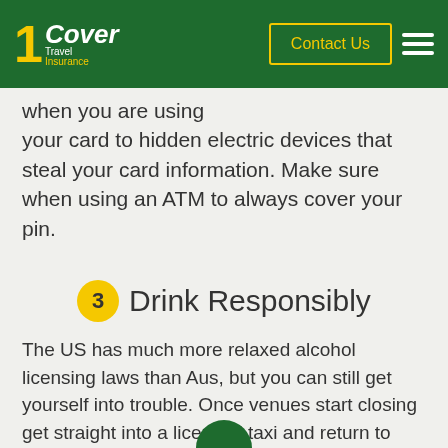1Cover Travel Insurance — Contact Us
when you are using your card to hidden electric devices that steal your card information. Make sure when using an ATM to always cover your pin.
3 Drink Responsibly
The US has much more relaxed alcohol licensing laws than Aus, but you can still get yourself into trouble. Once venues start closing get straight into a licensed taxi and return to where you are staying. Hanging around is asking for trouble.